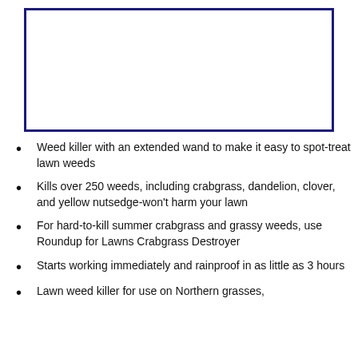[Figure (other): Product image placeholder — bordered box with dark navy border]
Weed killer with an extended wand to make it easy to spot-treat lawn weeds
Kills over 250 weeds, including crabgrass, dandelion, clover, and yellow nutsedge-won't harm your lawn
For hard-to-kill summer crabgrass and grassy weeds, use Roundup for Lawns Crabgrass Destroyer
Starts working immediately and rainproof in as little as 3 hours
Lawn weed killer for use on Northern grasses,